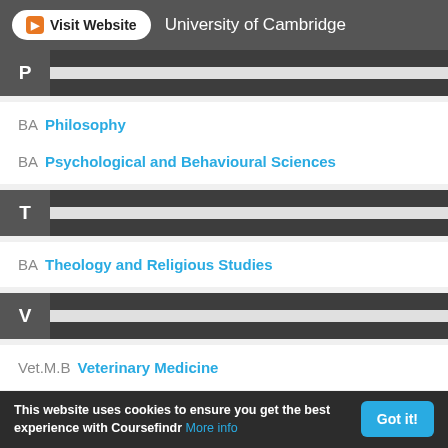Visit Website   University of Cambridge
P
BA Philosophy
BA Psychological and Behavioural Sciences
T
BA Theology and Religious Studies
V
Vet.M.B Veterinary Medicine
This website uses cookies to ensure you get the best experience with Coursefindr More info   Got it!